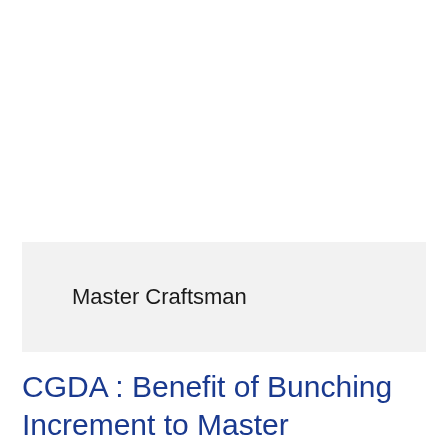Master Craftsman
CGDA : Benefit of Bunching Increment to Master Craftsman